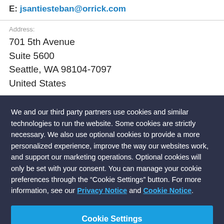E: jsantiesteban@orrick.com
Address:
701 5th Avenue
Suite 5600
Seattle, WA 98104-7097
United States
We and our third party partners use cookies and similar technologies to run the website. Some cookies are strictly necessary. We also use optional cookies to provide a more personalized experience, improve the way our websites work, and support our marketing operations. Optional cookies will only be set with your consent. You can manage your cookie preferences through the “Cookie Settings” button. For more information, see our Privacy Notice and Cookie Notice.
Cookie Settings
Reject All